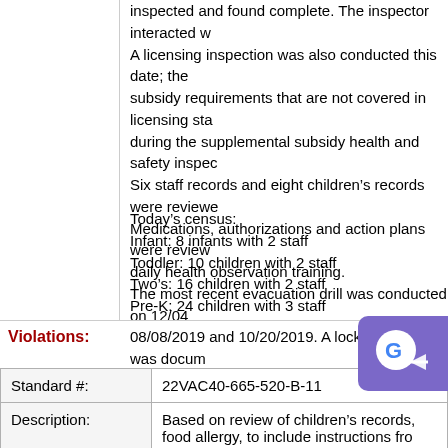inspected and found complete. The inspector interacted w A licensing inspection was also conducted this date; the subsidy requirements that are not covered in licensing sta during the supplemental subsidy health and safety inspec Six staff records and eight children's records were review Medications, authorizations and action plans were review daily health observation training. The most recent evacuation drill was conducted on 12/04 08/08/2019 and 10/20/2019. A lock down drill was docum
Today's census:
Infant: 8 infants with 2 staff
Toddler: 10 children with 2 staff
Two's: 16 children with 2 staff
Pre-K: 24 children with 3 staff
If you have questions regarding this inspection, please co
Violations:
| Standard #: | 22VAC40-665-520-B-11 |
| --- | --- |
| Description: | Based on review of children's records, food allergy, to include instructions fro taken in the event of a suspected or co |